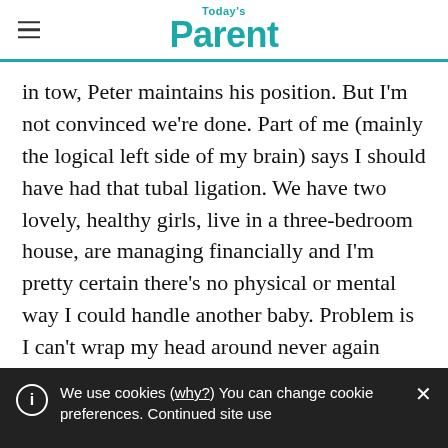Today's Parent
in tow, Peter maintains his position. But I'm not convinced we're done. Part of me (mainly the logical left side of my brain) says I should have had that tubal ligation. We have two lovely, healthy girls, live in a three-bedroom house, are managing financially and I'm pretty certain there's no physical or mental way I could handle another baby. Problem is I can't wrap my head around never again being a waddling
We use cookies (why?) You can change cookie preferences. Continued site use